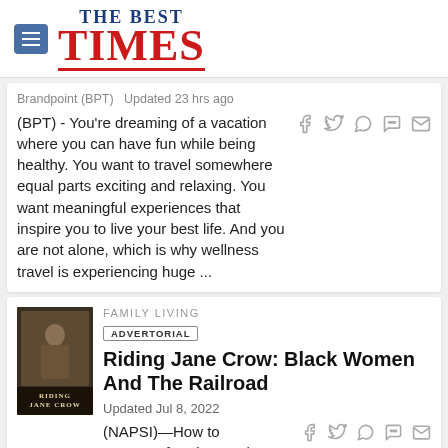THE BEST TIMES
Brandpoint (BPT)  Updated 23 hrs ago
(BPT) - You're dreaming of a vacation where you can have fun while being healthy. You want to travel somewhere equal parts exciting and relaxing. You want meaningful experiences that inspire you to live your best life. And you are not alone, which is why wellness travel is experiencing huge ...
FAMILY LIVING
ADVERTORIAL
Riding Jane Crow: Black Women And The Railroad
Updated Jul 8, 2022
(NAPSI)—How to measure freedom and